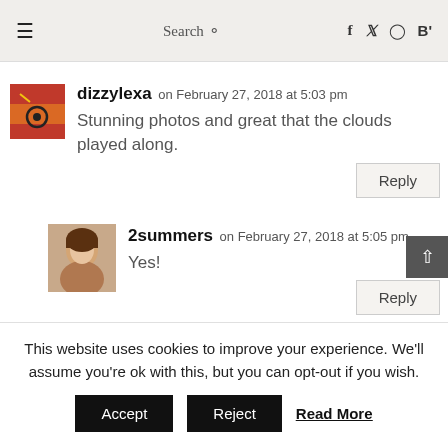≡  Search 🔍  f  Twitter  Instagram  B'
dizzylexa on February 27, 2018 at 5:03 pm
Stunning photos and great that the clouds played along.
Reply
2summers on February 27, 2018 at 5:05 pm
Yes!
Reply
This website uses cookies to improve your experience. We'll assume you're ok with this, but you can opt-out if you wish.
Accept  Reject  Read More